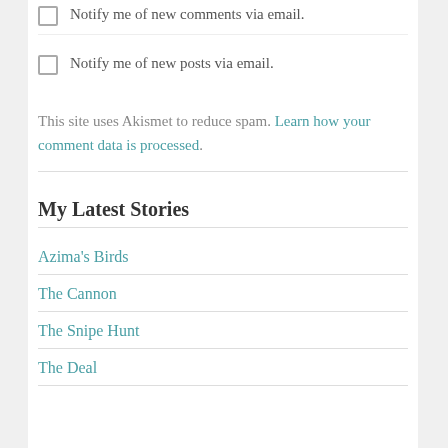Notify me of new comments via email.
Notify me of new posts via email.
This site uses Akismet to reduce spam. Learn how your comment data is processed.
My Latest Stories
Azima's Birds
The Cannon
The Snipe Hunt
The Deal